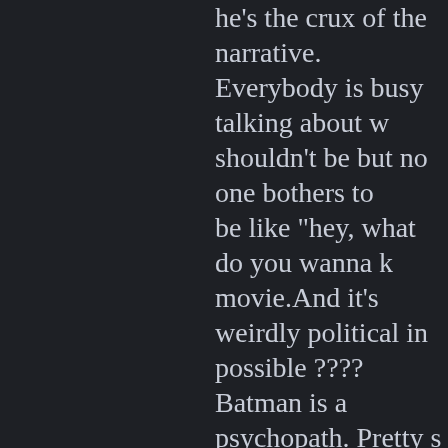he's the crux of the narrative. Everybody is busy talking about w shouldn't be but no one bothers to be like "hey, what do you wanna k movie.And it's weirdly political in possible ???? Batman is a psychopath. Pretty s locked up because he crosses the Wonder Woman steals the entire s And it has suuuuuuuch weird rel a parody of the blatant Jesus met I also don't know if there's a plot. happen and they're thrown toget It terrifies me that kids are going weekend. No kid should ever have to see Ba guy and Superman nonchalantly